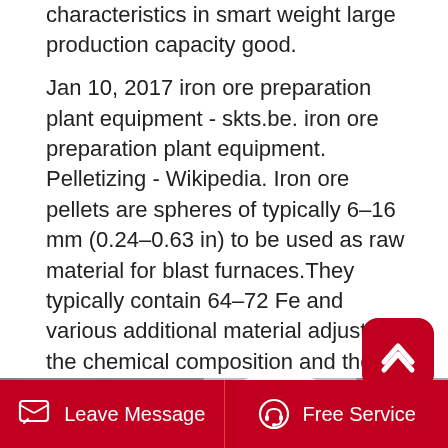characteristics in smart weight large production capacity good.
Jan 10, 2017 iron ore preparation plant equipment - skts.be. iron ore preparation plant equipment. Pelletizing - Wikipedia. Iron ore pellets are spheres of typically 6–16 mm (0.24–0.63 in) to be used as raw material for blast furnaces.They typically contain 64–72 Fe and various additional material adjusting the chemical composition and the metallurgic properties of.
Read More →
[Figure (photo): Interior of an industrial facility/plant showing ceiling structure with bright lighting, with ZHONG XIN company logo in the lower left]
Leave Message    Free Service